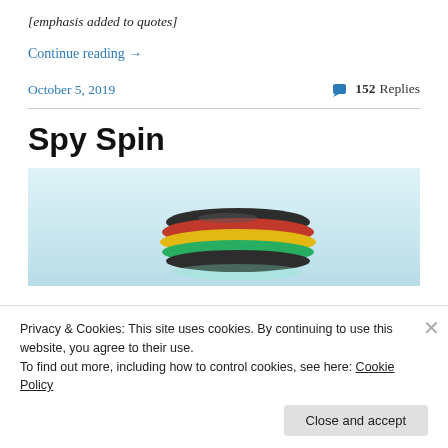[emphasis added to quotes]
Continue reading →
October 5, 2019
💬 152 Replies
Spy Spin
[Figure (photo): Colorful layered spinning top or fidget spinner toy with red, yellow, green, and dark bands, photographed against a light blue-white background.]
Privacy & Cookies: This site uses cookies. By continuing to use this website, you agree to their use.
To find out more, including how to control cookies, see here: Cookie Policy
Close and accept